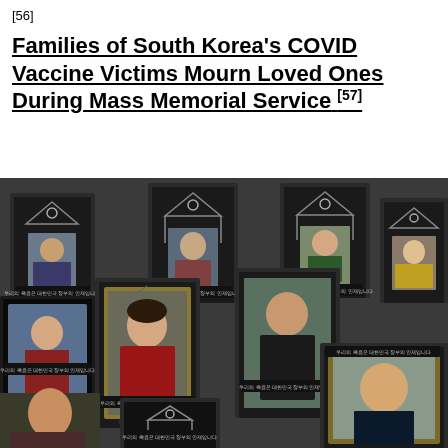[56]
Families of South Korea's COVID Vaccine Victims Mourn Loved Ones During Mass Memorial Service [57]
[Figure (photo): Photograph showing numerous memorial portrait frames displayed at a mass memorial service for South Korean COVID vaccine victims. The frames contain photos of deceased individuals and feature Korean text reading '우리의 죽음은 대한민국 정부의 인재입니다' (Our deaths are a man-made disaster by the South Korean government). The portraits are displayed on easels in a crowded arrangement.]